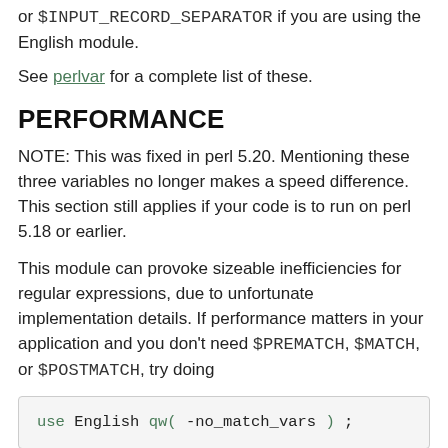or $INPUT_RECORD_SEPARATOR if you are using the English module.
See perlvar for a complete list of these.
PERFORMANCE
NOTE: This was fixed in perl 5.20. Mentioning these three variables no longer makes a speed difference. This section still applies if your code is to run on perl 5.18 or earlier.
This module can provoke sizeable inefficiencies for regular expressions, due to unfortunate implementation details. If performance matters in your application and you don't need $PREMATCH, $MATCH, or $POSTMATCH, try doing
[Figure (screenshot): Code block showing: use English qw( -no_match_vars ) ;]
. It is especially important to do this in modules to